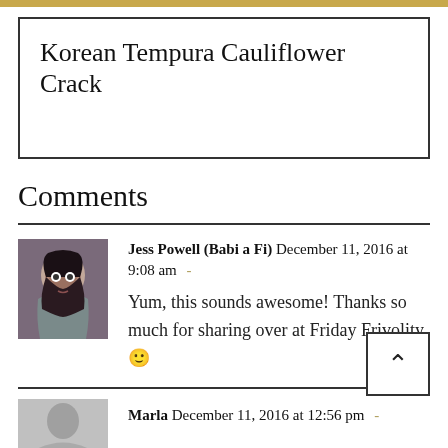Korean Tempura Cauliflower Crack
Comments
Jess Powell (Babi a Fi) December 11, 2016 at 9:08 am - Yum, this sounds awesome! Thanks so much for sharing over at Friday Frivolity. 🙂
Marla December 11, 2016 at 12:56 pm -